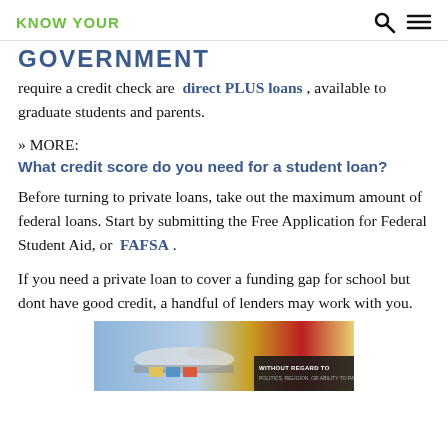KNOW YOUR
GOVERNMENT
require a credit check are direct PLUS loans , available to graduate students and parents.
» MORE:
What credit score do you need for a student loan?
Before turning to private loans, take out the maximum amount of federal loans. Start by submitting the Free Application for Federal Student Aid, or FAFSA .
If you need a private loan to cover a funding gap for school but dont have good credit, a handful of lenders may work with you.
[Figure (photo): Advertisement banner showing an airplane being loaded with cargo, with text overlay reading WITHOUT REGARD TO]